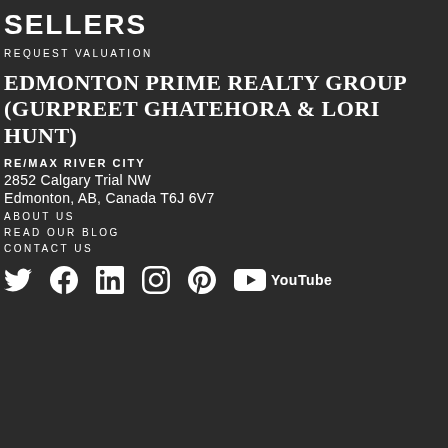SELLERS
REQUEST VALUATION
EDMONTON PRIME REALTY GROUP (GURPREET GHATEHORA & LORI HUNT)
RE/MAX RIVER CITY
2852 Calgary Trial NW
Edmonton, AB, Canada T6J 6V7
ABOUT US
READ OUR BLOG
CONTACT US
[Figure (infographic): Social media icons: Twitter, Facebook, LinkedIn, Instagram, Pinterest, YouTube]